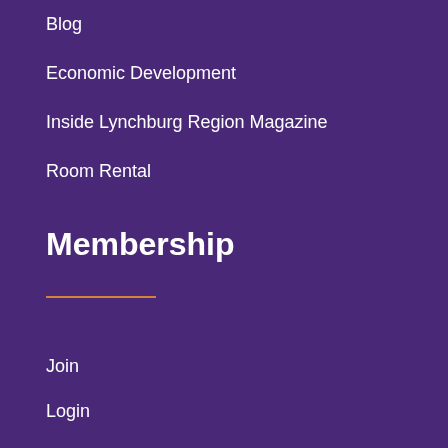Blog
Economic Development
Inside Lynchburg Region Magazine
Room Rental
Membership
Join
Login
Benefits
Member Events
Member News